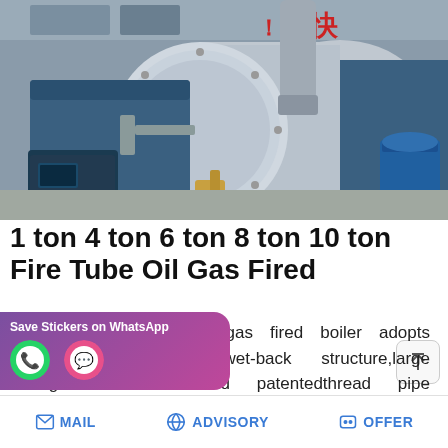[Figure (photo): Industrial fire tube boiler system with blue cylindrical boiler body, burner assembly, control panel with indicator lights, and various pipes and valves. Chinese characters visible on top of boiler.]
1 ton 4 ton 6 ton 8 ton 10 ton Fire Tube Oil Gas Fired
ZOZEN WNS series oil/gas fired boiler adopts horizontal three-pass wet-back structure,large corrugated furnace and patentedthread pipe technology,equipped with international fuel brand burners and valv…